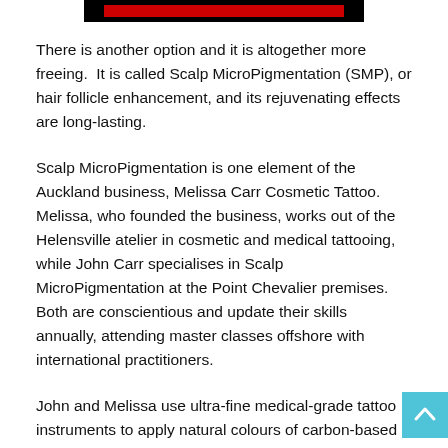[Figure (other): Black banner with red horizontal bar inside, centered at top of page]
There is another option and it is altogether more freeing.  It is called Scalp MicroPigmentation (SMP), or hair follicle enhancement, and its rejuvenating effects are long-lasting.
Scalp MicroPigmentation is one element of the Auckland business, Melissa Carr Cosmetic Tattoo. Melissa, who founded the business, works out of the Helensville atelier in cosmetic and medical tattooing, while John Carr specialises in Scalp MicroPigmentation at the Point Chevalier premises. Both are conscientious and update their skills annually, attending master classes offshore with international practitioners.
John and Melissa use ultra-fine medical-grade tattoo instruments to apply natural colours of carbon-based pigment where the skin has lost or is losing hair. The pigment